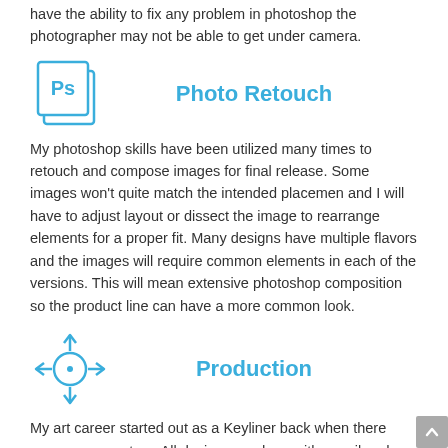have the ability to fix any problem in photoshop the photographer may not be able to get under camera.
[Figure (logo): Adobe Photoshop 'Ps' icon in blue outline style]
Photo Retouch
My photoshop skills have been utilized many times to retouch and compose images for final release. Some images won't quite match the intended placemen and I will have to adjust layout or dissect the image to rearrange elements for a proper fit.  Many designs have multiple flavors and the images will require common elements in each of the versions. This will mean extensive photoshop composition so the product line can have a more common look.
[Figure (illustration): Crosshair/target icon in blue outline style]
Production
My art career started out as a Keyliner back when there were no computers. All design was done with pencil and